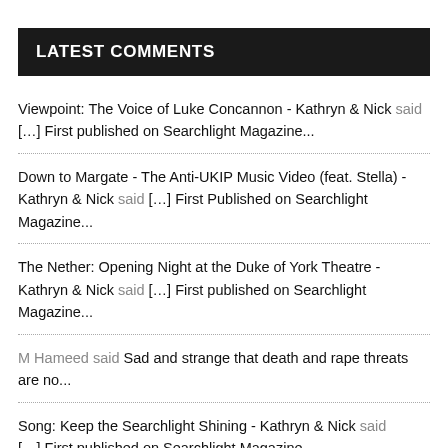LATEST COMMENTS
Viewpoint: The Voice of Luke Concannon - Kathryn & Nick said […] First published on Searchlight Magazine...
Down to Margate - The Anti-UKIP Music Video (feat. Stella) - Kathryn & Nick said […] First Published on Searchlight Magazine...
The Nether: Opening Night at the Duke of York Theatre - Kathryn & Nick said […] First published on Searchlight Magazine...
M Hameed said Sad and strange that death and rape threats are no...
Song: Keep the Searchlight Shining - Kathryn & Nick said […] First published on Searchlight Magazine...